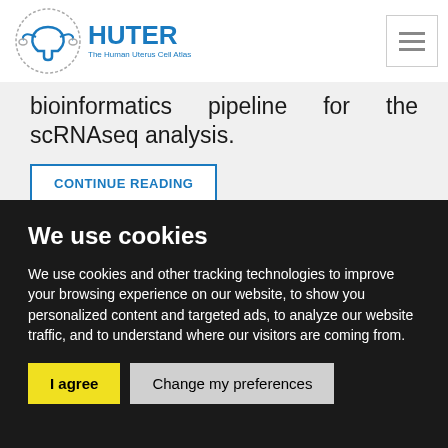[Figure (logo): HUTER - The Human Uterus Cell Atlas logo with uterus icon in blue]
bioinformatics pipeline for the scRNAseq analysis.
CONTINUE READING
We use cookies
We use cookies and other tracking technologies to improve your browsing experience on our website, to show you personalized content and targeted ads, to analyze our website traffic, and to understand where our visitors are coming from.
I agree
Change my preferences